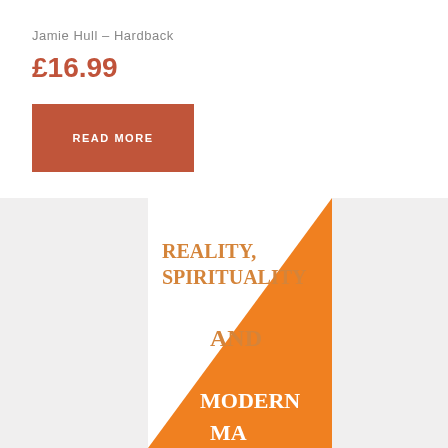Jamie Hull – Hardback
£16.99
READ MORE
[Figure (photo): Book cover for 'Reality, Spirituality and Modern Man' with white and orange triangle design]